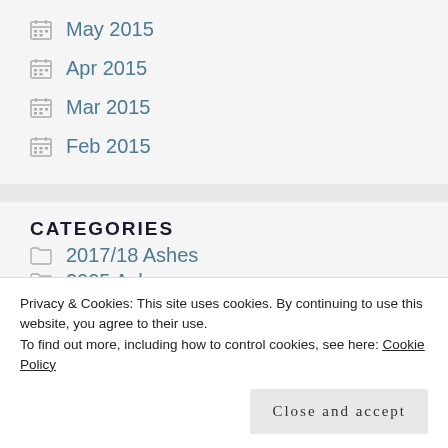May 2015
Apr 2015
Mar 2015
Feb 2015
CATEGORIES
2005 Ashes
2015 Ashes
Privacy & Cookies: This site uses cookies. By continuing to use this website, you agree to their use.
To find out more, including how to control cookies, see here: Cookie Policy
2017/18 Ashes